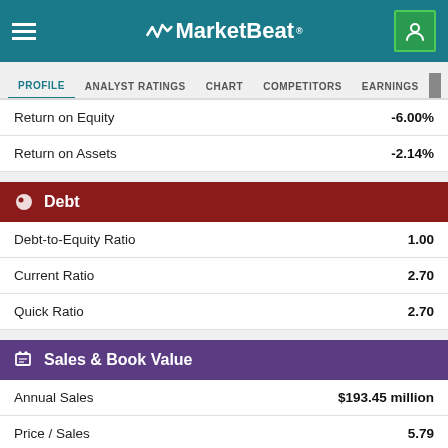MarketBeat
PROFILE | ANALYST RATINGS | CHART | COMPETITORS | EARNINGS | FINANCIALS
|  |  |
| --- | --- |
| Return on Equity | -6.00% |
| Return on Assets | -2.14% |
Debt
|  |  |
| --- | --- |
| Debt-to-Equity Ratio | 1.00 |
| Current Ratio | 2.70 |
| Quick Ratio | 2.70 |
Sales & Book Value
|  |  |
| --- | --- |
| Annual Sales | $193.45 million |
| Price / Sales | 5.79 |
| Cash Flow | $0.30 per share |
| Price / Cash Flow | 101.41 |
| Book Value | $3.45 per share |